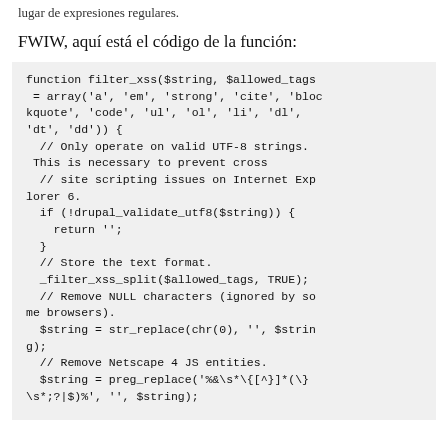lugar de expresiones regulares.
FWIW, aquí está el código de la función:
function filter_xss($string, $allowed_tags = array('a', 'em', 'strong', 'cite', 'blockquote', 'code', 'ul', 'ol', 'li', 'dl', 'dt', 'dd')) {
  // Only operate on valid UTF-8 strings. This is necessary to prevent cross
  // site scripting issues on Internet Explorer 6.
  if (!drupal_validate_utf8($string)) {
    return '';
  }
  // Store the text format.
  _filter_xss_split($allowed_tags, TRUE);
  // Remove NULL characters (ignored by some browsers).
  $string = str_replace(chr(0), '', $string);
  // Remove Netscape 4 JS entities.
  $string = preg_replace('%&\s*\{[^}]*(\}\s*;?|$)%', '', $string);

  // Defuse all HTML entities.
  $string = str_replace('&', '&amp;', $str